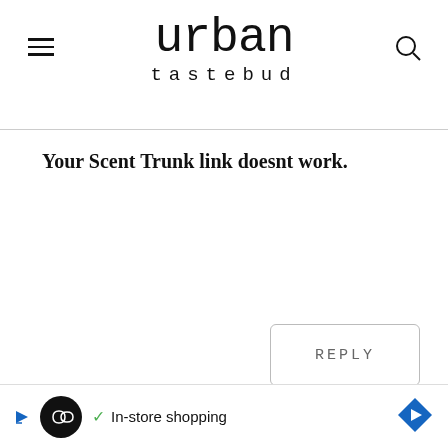urban tastebud
Your Scent Trunk link doesnt work.
REPLY
[Figure (other): Advertisement banner with Loopnet logo, checkmark, 'In-store shopping' text, and blue diamond arrow icon]